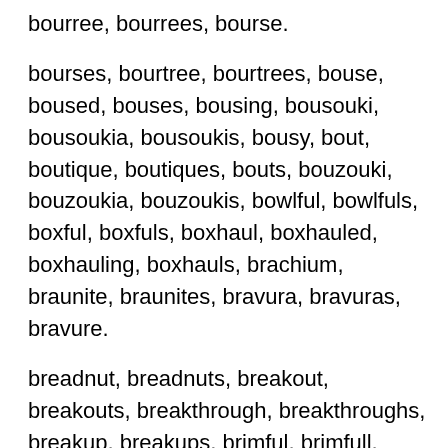bourree, bourrees, bourse.
bourses, bourtree, bourtrees, bouse, boused, bouses, bousing, bousouki, bousoukia, bousoukis, bousy, bout, boutique, boutiques, bouts, bouzouki, bouzoukia, bouzoukis, bowlful, bowlfuls, boxful, boxfuls, boxhaul, boxhauled, boxhauling, boxhauls, brachium, braunite, braunites, bravura, bravuras, bravure.
breadnut, breadnuts, breakout, breakouts, breakthrough, breakthroughs, breakup, breakups, brimful, brimfull, briquet, briquets, briquetted, briquetting, brochure, brochures, brogue, brogueries, broguery, brogues, broguish, bronchus.
brougham, broughams, brought, brouhaha, brouhahas, brownout, brownouts, brucella, brucellae, brucellas, brucin, brucine, brucines, brucins, brugh,